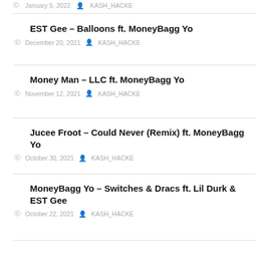January 5, 2022  KASH_HACKE
EST Gee – Balloons ft. MoneyBagg Yo
December 20, 2021  KASH_HACKE
Money Man – LLC ft. MoneyBagg Yo
November 12, 2021  KASH_HACKE
Jucee Froot – Could Never (Remix) ft. MoneyBagg Yo
October 30, 2021  KASH_HACKE
MoneyBagg Yo – Switches & Dracs ft. Lil Durk & EST Gee
October 22, 2021  KASH_HACKE